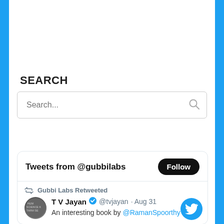SEARCH
[Figure (screenshot): Search input box with placeholder text 'Search...' and a search icon on the right]
[Figure (screenshot): Twitter widget showing 'Tweets from @gubbilabs' with a Follow button, a retweet by Gubbi Labs of T V Jayan's tweet about an interesting book by @RamanSpoorthy]